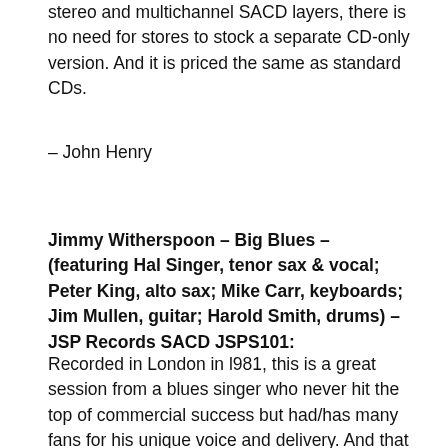stereo and multichannel SACD layers, there is no need for stores to stock a separate CD-only version. And it is priced the same as standard CDs.
– John Henry
Jimmy Witherspoon – Big Blues – (featuring Hal Singer, tenor sax & vocal; Peter King, alto sax; Mike Carr, keyboards; Jim Mullen, guitar; Harold Smith, drums) – JSP Records SACD JSPS101:
Recorded in London in l981, this is a great session from a blues singer who never hit the top of commercial success but had/has many fans for his unique voice and delivery. And that includes me; I'll